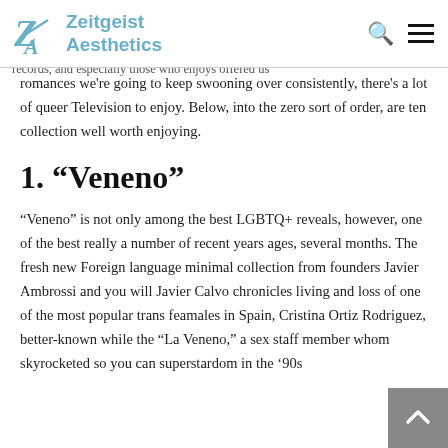Zeitgeist Aesthetics
yours of the reasons why internet series having consulting you sexy queer… you can of these that have illustrious full closet, crucial bits of queer records, and especially those who enjoys offered us
romances we’re going to keep swooning over consistently, there’s a lot of queer Television to enjoy. Below, into the zero sort of order, are ten collection well worth enjoying.
1. “Veneno”
“Veneno” is not only among the best LGBTQ+ reveals, however, one of the best really a number of recent years ages, several months. The fresh new Foreign language minimal collection from founders Javier Ambrossi and you will Javier Calvo chronicles living and loss of one of the most popular trans feamales in Spain, Cristina Ortiz Rodriguez, better-known while the “La Veneno,” a sex staff member whom skyrocketed so you can superstardom in the ’90s